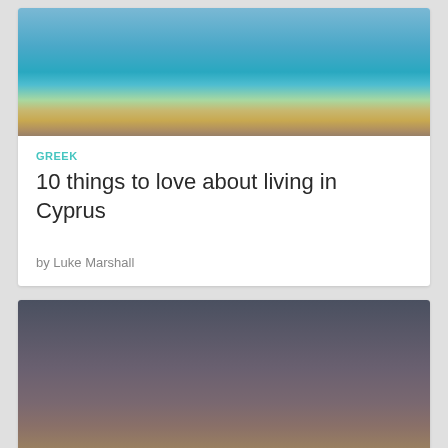[Figure (photo): Coastal scene with turquoise sea water, rocky shoreline, and sandy beaches under a blue sky]
GREEK
10 things to love about living in Cyprus
by Luke Marshall
[Figure (photo): Sunset or dusk sky over a city skyline with a dark minaret silhouette in the foreground, warm orange and purple hues]
FRANCE